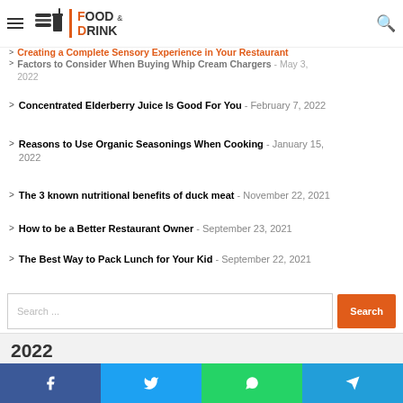Food & Drink
Creating a Complete Sensory Experience in Your Restaurant - [date partially visible]
Factors to Consider When Buying Whip Cream Chargers - May 3, 2022
Concentrated Elderberry Juice Is Good For You - February 7, 2022
Reasons to Use Organic Seasonings When Cooking - January 15, 2022
The 3 known nutritional benefits of duck meat - November 22, 2021
How to be a Better Restaurant Owner - September 23, 2021
The Best Way to Pack Lunch for Your Kid - September 22, 2021
Search ...
2022
Facebook | Twitter | WhatsApp | Telegram